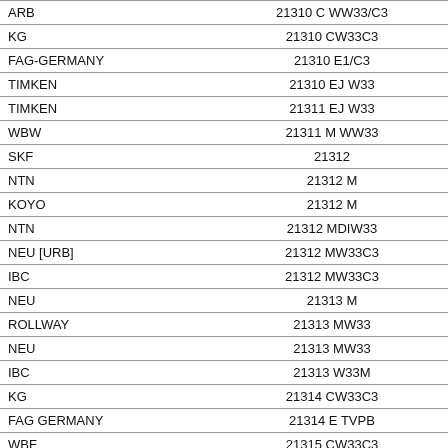| ARB | 21310 C WW33/C3 |
| KG | 21310 CW33C3 |
| FAG-GERMANY | 21310 E1/C3 |
| TIMKEN | 21310 EJ W33 |
| TIMKEN | 21311 EJ W33 |
| WBW | 21311 M WW33 |
| SKF | 21312 |
| NTN | 21312 M |
| KOYO | 21312 M |
| NTN | 21312 MDIW33 |
| NEU [URB] | 21312 MW33C3 |
| IBC | 21312 MW33C3 |
| NEU | 21313 M |
| ROLLWAY | 21313 MW33 |
| NEU | 21313 MW33 |
| IBC | 21313 W33M |
| KG | 21314 CW33C3 |
| FAG GERMANY | 21314 E TVPB |
| WBF | 21315 CW33C3 |
| SKF GT BRITAIN | 21315 E W33 |
| SKF | 21316 CJ |
| FAG GERMANY | 21316 M |
| NEU | 21316 MW33C3 |
| SNR | 21316 V |